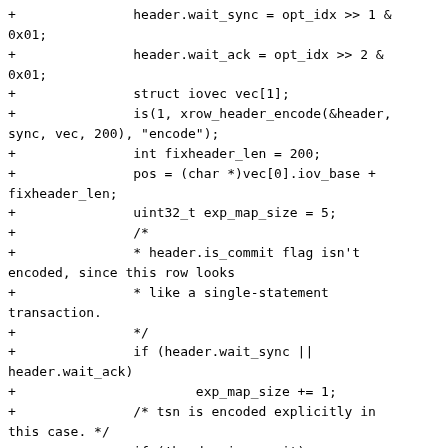+	header.wait_sync = opt_idx >> 1 & 0x01;
+	header.wait_ack = opt_idx >> 2 & 0x01;
+	struct iovec vec[1];
+	is(1, xrow_header_encode(&header, sync, vec, 200), "encode");
+	int fixheader_len = 200;
+	pos = (char *)vec[0].iov_base + fixheader_len;
+	uint32_t exp_map_size = 5;
+	/*
+	 * header.is_commit flag isn't encoded, since this row looks
+	 * like a single-statement transaction.
+	 */
+	if (header.wait_sync || header.wait_ack)
+			exp_map_size += 1;
+	/* tsn is encoded explicitly in this case. */
+	if (!header.is_commit)
+			exp_map_size += 1;
+	uint32_t size = mp_decode_map((const char **)&pos);
+	is(size, exp_map_size, "header map size");
+
+	struct xrow header decoded_header;